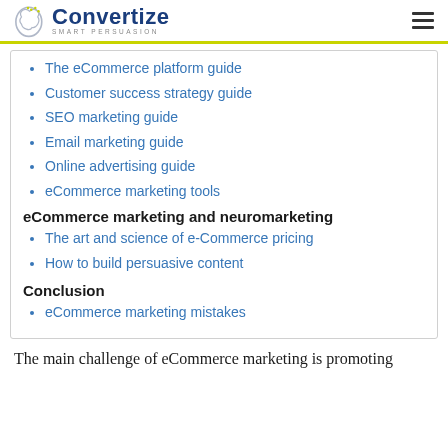Convertize SMART PERSUASION
The eCommerce platform guide
Customer success strategy guide
SEO marketing guide
Email marketing guide
Online advertising guide
eCommerce marketing tools
eCommerce marketing and neuromarketing
The art and science of e-Commerce pricing
How to build persuasive content
Conclusion
eCommerce marketing mistakes
The main challenge of eCommerce marketing is promoting